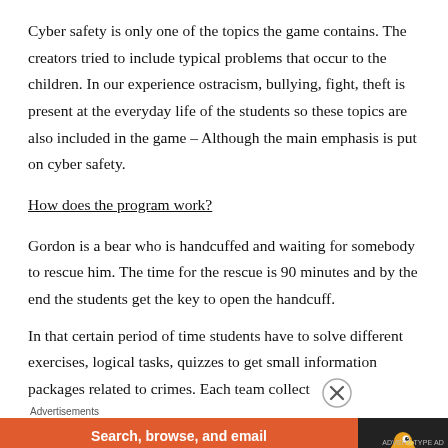Cyber safety is only one of the topics the game contains. The creators tried to include typical problems that occur to the children. In our experience ostracism, bullying, fight, theft is present at the everyday life of the students so these topics are also included in the game – Although the main emphasis is put on cyber safety.
How does the program work?
Gordon is a bear who is handcuffed and waiting for somebody to rescue him. The time for the rescue is 90 minutes and by the end the students get the key to open the handcuff.
In that certain period of time students have to solve different exercises, logical tasks, quizzes to get small information packages related to crimes. Each team collect
Advertisements
[Figure (other): DuckDuckGo advertisement banner: orange left section with text 'Search, browse, and email with more privacy. All in One Free App', dark right section with DuckDuckGo duck logo and brand name.]